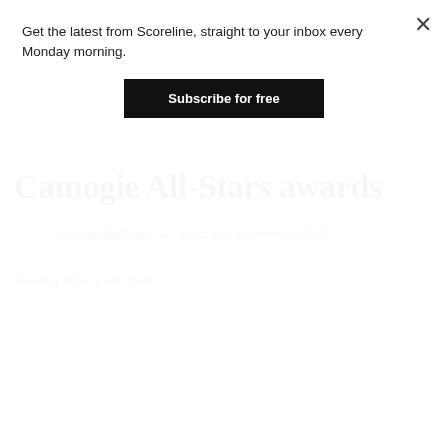Camogie All-Stars awards
by Ken McGuire — Sunday 8 November, 2015
Reading Time: 1 min read
Get the latest from Scoreline, straight to your inbox every Monday morning.
[Figure (other): Subscribe for free button (newsletter signup modal overlay)]
[Figure (photo): Article image placeholder (light grey background)]